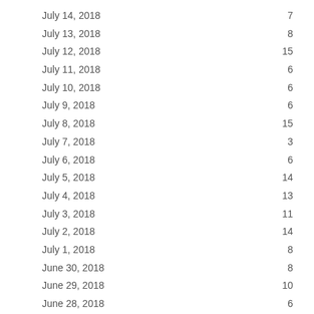| Date | Value |
| --- | --- |
| July 14, 2018 | 7 |
| July 13, 2018 | 8 |
| July 12, 2018 | 15 |
| July 11, 2018 | 6 |
| July 10, 2018 | 6 |
| July 9, 2018 | 6 |
| July 8, 2018 | 15 |
| July 7, 2018 | 3 |
| July 6, 2018 | 6 |
| July 5, 2018 | 14 |
| July 4, 2018 | 13 |
| July 3, 2018 | 11 |
| July 2, 2018 | 14 |
| July 1, 2018 | 8 |
| June 30, 2018 | 8 |
| June 29, 2018 | 10 |
| June 28, 2018 | 6 |
| June 27, 2018 | 11 |
| June 26, 2018 | 14 |
| June 25, 2018 | 9 |
| June 24, 2018 | 9 |
| June 23, 2018 | 14 |
| June 22, 2018 | 8 |